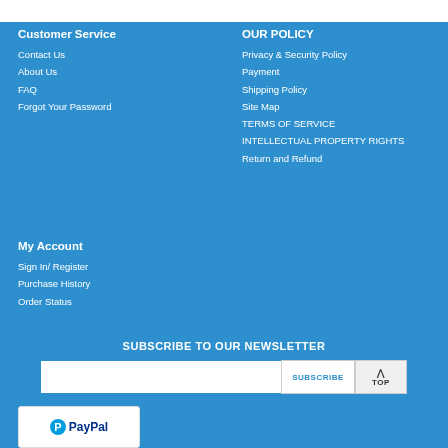Customer Service
Contact Us
About Us
FAQ
Forgot Your Password
OUR POLICY
Privacy & Security Policy
Payment
Shipping Policy
Site Map
TERMS OF SERVICE
INTELLECTUAL PROPERTY RIGHTS
Return and Refund
My Account
Sign In/ Register
Purchase History
Order Status
SUBSCRIBE TO OUR NEWSLETTER
[Figure (logo): PayPal logo with blue P circle and PayPal text]